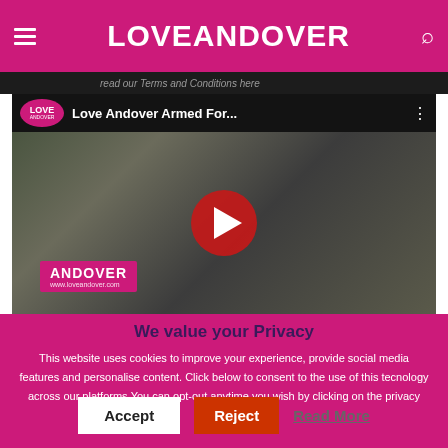LOVE ANDOVER
read our Terms and Conditions here
[Figure (screenshot): YouTube video embed showing 'Love Andover Armed For...' with a play button overlay. Scene shows military band musicians playing instruments outdoors with a helicopter in background. Love Andover logo badge visible top left. ANDOVER banner visible at bottom.]
We value your Privacy
This website uses cookies to improve your experience, provide social media features and personalise content. Click below to consent to the use of this tecnology across our platforms.You can opt-out anytime you wish by clicking on the privacy button.
Accept   Reject   Read More